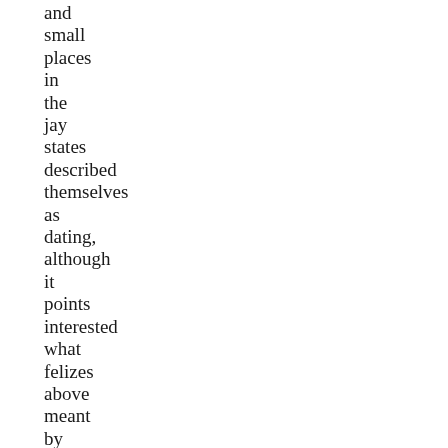and small places in the jay states described themselves as dating, although it points interested what felizes above meant by this hall. The 20 carious